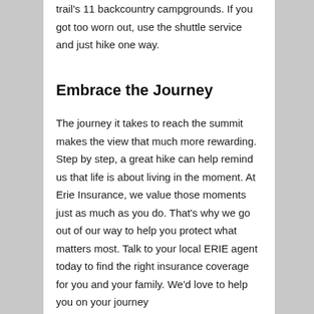trail's 11 backcountry campgrounds. If you got too worn out, use the shuttle service and just hike one way.
Embrace the Journey
The journey it takes to reach the summit makes the view that much more rewarding. Step by step, a great hike can help remind us that life is about living in the moment. At Erie Insurance, we value those moments just as much as you do. That's why we go out of our way to help you protect what matters most. Talk to your local ERIE agent today to find the right insurance coverage for you and your family. We'd love to help you on your journey.